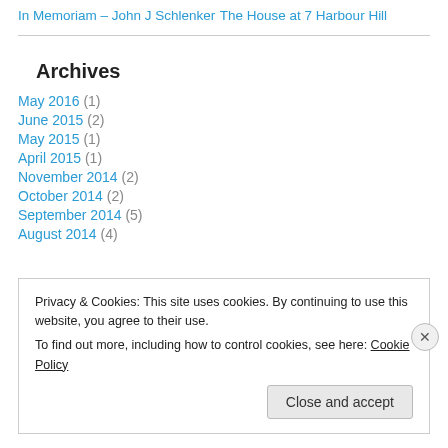In Memoriam – John J Schlenker
The House at 7 Harbour Hill
Archives
May 2016 (1)
June 2015 (2)
May 2015 (1)
April 2015 (1)
November 2014 (2)
October 2014 (2)
September 2014 (5)
August 2014 (4)
Privacy & Cookies: This site uses cookies. By continuing to use this website, you agree to their use. To find out more, including how to control cookies, see here: Cookie Policy
Close and accept